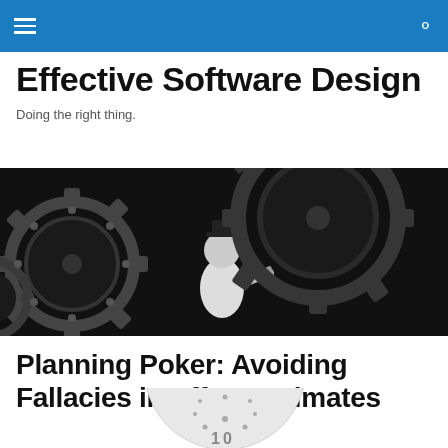Effective Software Design
Doing the right thing.
[Figure (photo): Black and white photo of Charlie Chaplin amid large industrial gears, from the film Modern Times]
Planning Poker: Avoiding Fallacies in Effort Estimates
[Figure (photo): Partial view of a circular dial or clock face, showing dots and partial numbers, cropped at bottom of page]